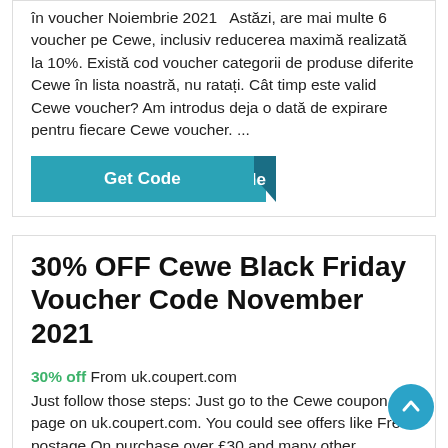în voucher Noiembrie 2021   Astăzi, are mai multe 6 voucher pe Cewe, inclusiv reducerea maximă realizată la 10%. Există cod voucher categorii de produse diferite Cewe în lista noastră, nu ratați. Cât timp este valid Cewe voucher? Am introdus deja o dată de expirare pentru fiecare Cewe voucher. ...
[Figure (other): Teal 'Get Code' button with a dark blue folded corner tab revealing 'de' text]
30% OFF Cewe Black Friday Voucher Code November 2021
30% off From uk.coupert.com Just follow those steps: Just go to the Cewe coupon page on uk.coupert.com. You could see offers like Free postage On purchase over £30 and many other discounts. Choose one of your